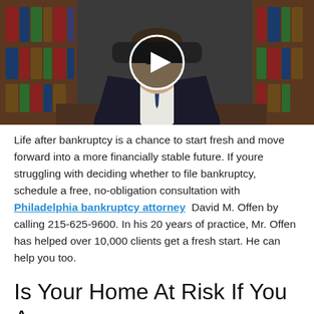[Figure (photo): Video thumbnail showing a man in a suit and tie sitting at a desk in front of a bookshelf filled with law books. A circular play button overlay is centered on the image.]
Life after bankruptcy is a chance to start fresh and move forward into a more financially stable future. If youre struggling with deciding whether to file bankruptcy, schedule a free, no-obligation consultation with Philadelphia bankruptcy attorney David M. Offen by calling 215-625-9600. In his 20 years of practice, Mr. Offen has helped over 10,000 clients get a fresh start. He can help you too.
Is Your Home At Risk If You Are Insolvent